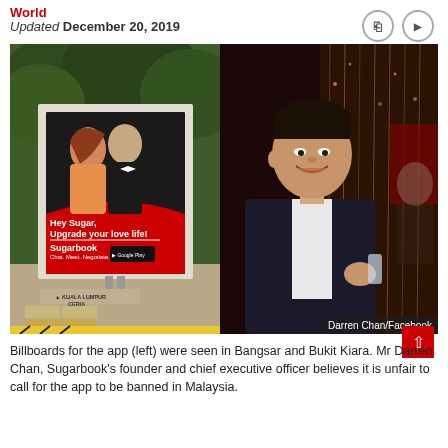World
Updated December 20, 2019
[Figure (photo): Left: Billboard for Sugarbook app showing couple with text 'Hey Sugar, Upgrade your love life! Sugarbook Chat. Meet. Negotiate.' with Google Play button, located in Kuala Lumpur Ceria. Right: Portrait of Darren Chan smiling at an event, wearing dark suit and white shirt. Photo credit: Darren Chan/Facebook]
Billboards for the app (left) were seen in Bangsar and Bukit Kiara. Mr Darren Chan, Sugarbook's founder and chief executive officer believes it is unfair to call for the app to be banned in Malaysia.